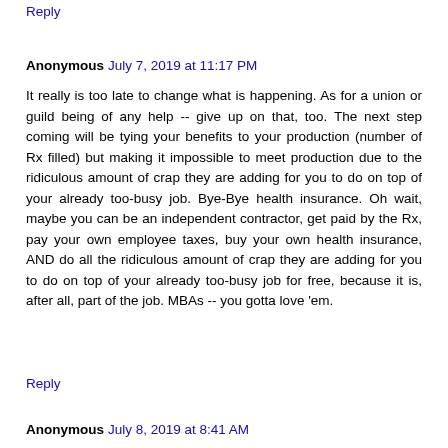Reply
Anonymous  July 7, 2019 at 11:17 PM
It really is too late to change what is happening. As for a union or guild being of any help -- give up on that, too. The next step coming will be tying your benefits to your production (number of Rx filled) but making it impossible to meet production due to the ridiculous amount of crap they are adding for you to do on top of your already too-busy job. Bye-Bye health insurance. Oh wait, maybe you can be an independent contractor, get paid by the Rx, pay your own employee taxes, buy your own health insurance, AND do all the ridiculous amount of crap they are adding for you to do on top of your already too-busy job for free, because it is, after all, part of the job. MBAs -- you gotta love 'em.
Reply
Anonymous  July 8, 2019 at 8:41 AM